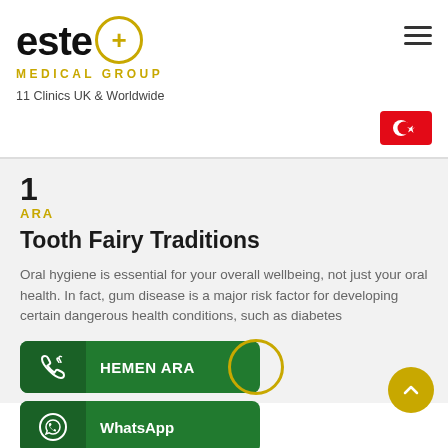[Figure (logo): Este Medical Group logo with golden circle plus symbol and text '11 Clinics UK & Worldwide']
11 Clinics UK & Worldwide
1
ARA
Tooth Fairy Traditions
Oral hygiene is essential for your overall wellbeing, not just your oral health. In fact, gum disease is a major risk factor for developing certain dangerous health conditions, such as diabetes
[Figure (infographic): Green HEMEN ARA call button with phone icon and golden ring accent]
[Figure (infographic): Green WhatsApp button with WhatsApp icon]